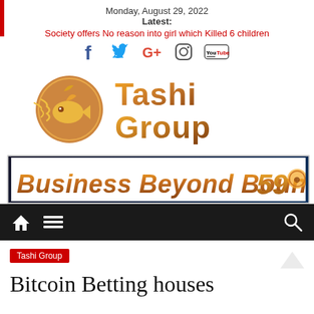Monday, August 29, 2022
Latest:
Society offers No reason into girl which Killed 6 children
[Figure (logo): Social media icons: Facebook, Twitter, Google+, Instagram, YouTube]
[Figure (logo): Tashi Group logo with golden fish emblem and orange gradient text]
[Figure (logo): Business Beyond Boundaries 59 banner with orange decorative text]
[Figure (infographic): Navigation bar with home icon, hamburger menu, and search icon on dark background]
Bitcoin Betting houses
Tashi Group